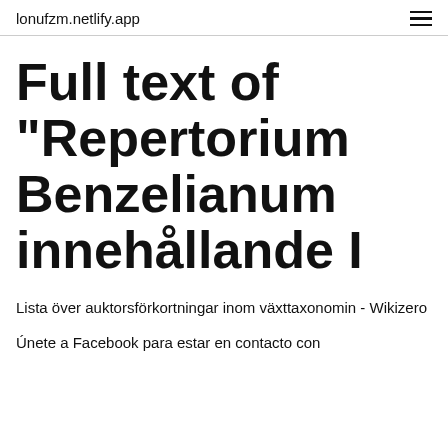lonufzm.netlify.app
Full text of "Repertorium Benzelianum innehållande I
Lista över auktorsförkortningar inom växttaxonomin - Wikizero
Únete a Facebook para estar en contacto con